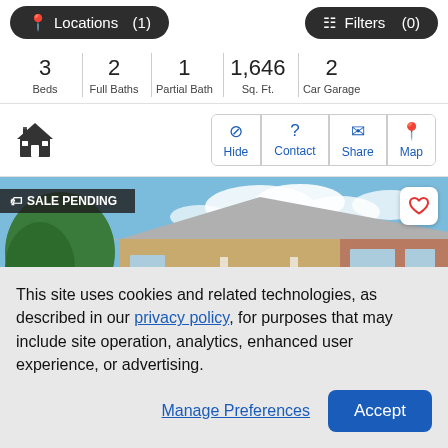Locations (1)   Filters (0)
| Beds | Full Baths | Partial Bath | Sq. Ft. | Car Garage |
| --- | --- | --- | --- | --- |
| 3 | 2 | 1 | 1,646 | 2 |
[Figure (screenshot): Action buttons row with house icon and Hide, Contact, Share, Map buttons]
[Figure (photo): House exterior photo with SALE PENDING badge and heart favorite button. Single-story brick ranch home with porch, large trees, and metal roof visible.]
This site uses cookies and related technologies, as described in our privacy policy, for purposes that may include site operation, analytics, enhanced user experience, or advertising.
Manage Preferences   Accept